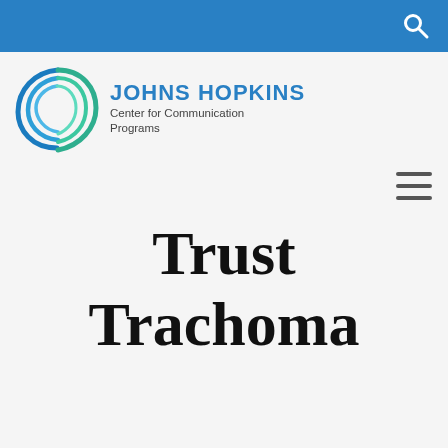[Figure (logo): Johns Hopkins Center for Communication Programs logo with blue and green spiral/wave mark]
Trust Trachoma